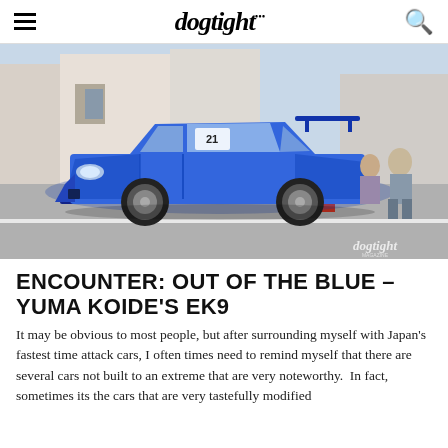dogtight
[Figure (photo): Blue Honda Civic EK9 time attack car at a racing paddock/pit area, with people working around it. The car is extensively modified with aero kit, race wheels, and livery. The dogtight logo watermark is visible in the bottom right corner.]
ENCOUNTER: OUT OF THE BLUE – YUMA KOIDE'S EK9
It may be obvious to most people, but after surrounding myself with Japan's fastest time attack cars, I often times need to remind myself that there are several cars not built to an extreme that are very noteworthy.  In fact, sometimes its the cars that are very tastefully modified